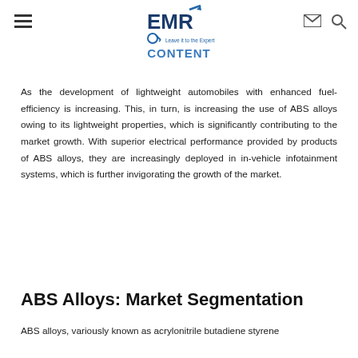EMR — Leave it to the Experts (logo with navigation icons)
CONTENT
As the development of lightweight automobiles with enhanced fuel-efficiency is increasing. This, in turn, is increasing the use of ABS alloys owing to its lightweight properties, which is significantly contributing to the market growth. With superior electrical performance provided by products of ABS alloys, they are increasingly deployed in in-vehicle infotainment systems, which is further invigorating the growth of the market.
ABS Alloys: Market Segmentation
ABS alloys, variously known as acrylonitrile butadiene styrene